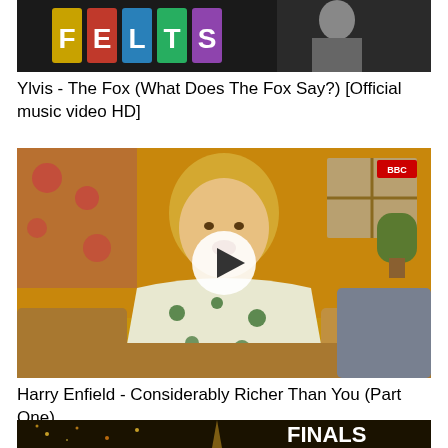[Figure (screenshot): Top partial video thumbnail showing 'Ylvis - The Fox' music video with stylized text logo on dark background]
Ylvis - The Fox (What Does The Fox Say?) [Official music video HD]
[Figure (screenshot): Video thumbnail showing a blonde woman in a floral shirt sitting on a sofa in a retro living room setting, with a play button overlay - Harry Enfield 'Considerably Richer Than You (Part One)']
Harry Enfield - Considerably Richer Than You (Part One)
[Figure (screenshot): Partial video thumbnail showing fireworks with 'FINALS' text in bold white letters on golden background]